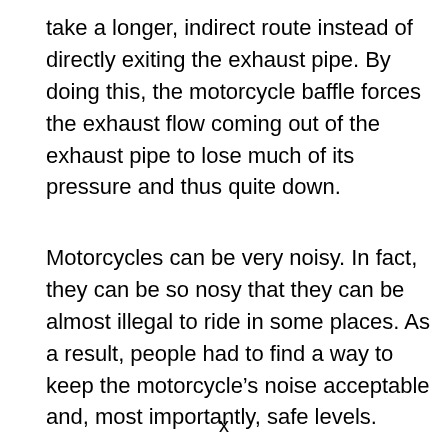take a longer, indirect route instead of directly exiting the exhaust pipe. By doing this, the motorcycle baffle forces the exhaust flow coming out of the exhaust pipe to lose much of its pressure and thus quite down.
Motorcycles can be very noisy. In fact, they can be so nosy that they can be almost illegal to ride in some places. As a result, people had to find a way to keep the motorcycle’s noise acceptable and, most importantly, safe levels.
x